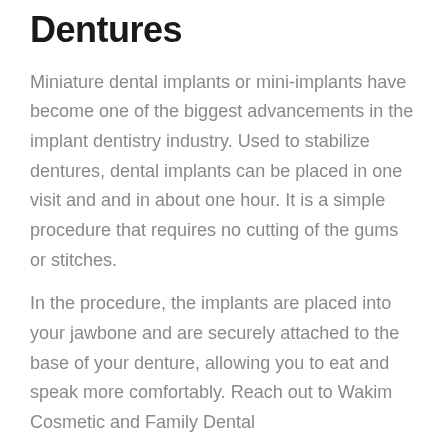Dentures
Miniature dental implants or mini-implants have become one of the biggest advancements in the implant dentistry industry. Used to stabilize dentures, dental implants can be placed in one visit and and in about one hour. It is a simple procedure that requires no cutting of the gums or stitches.
In the procedure, the implants are placed into your jawbone and are securely attached to the base of your denture, allowing you to eat and speak more comfortably. Reach out to Wakim Cosmetic and Family Dental